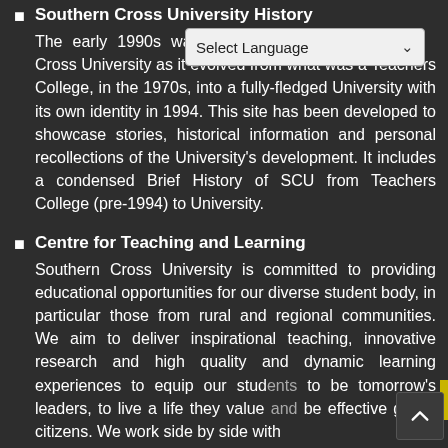Southern Cross University History
The early 1990s was an exciting time for Southern Cross University as it evolved from what was a Teachers College, in the 1970s, into a fully-fledged University with its own identity in 1994. This site has been developed to showcase stories, historical information and personal recollections of the University's development. It includes a condensed Brief History of SCU from Teachers College (pre-1994) to University.
Centre for Teaching and Learning
Southern Cross University is committed to providing educational opportunities for our diverse student body, in particular those from rural and regional communities. We aim to deliver inspirational teaching, innovative research and high quality and dynamic learning experiences to equip our students to be tomorrow's leaders, to live a life they value and be effective global citizens. We work side by side with